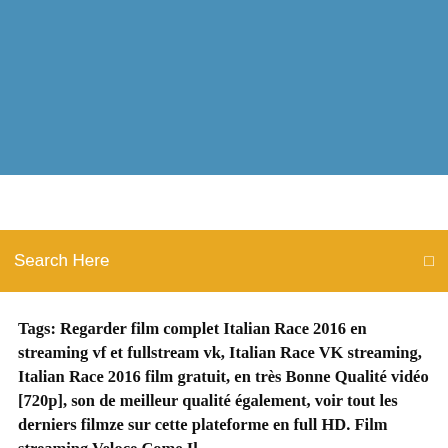[Figure (photo): Blue sky/banner header image at top of webpage]
Search Here
Tags: Regarder film complet Italian Race 2016 en streaming vf et fullstream vk, Italian Race VK streaming, Italian Race 2016 film gratuit, en très Bonne Qualité vidéo [720p], son de meilleur qualité également, voir tout les derniers filmze sur cette plateforme en full HD. Film streaming Veloce Come Il ...
What keeps it from being great is that it suffers from the problem of "knowledge aforehand". It is difficult to build much suspense with a well known story. But, that does not mean dull or boring. It would